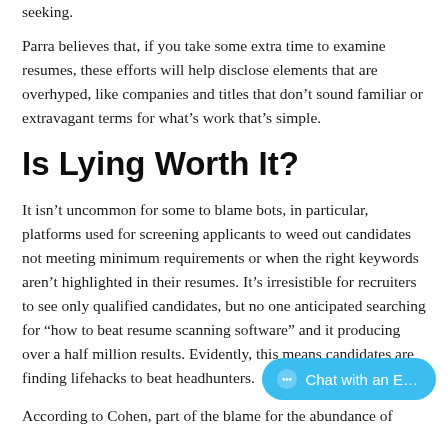seeking.
Parra believes that, if you take some extra time to examine resumes, these efforts will help disclose elements that are overhyped, like companies and titles that don’t sound familiar or extravagant terms for what’s work that’s simple.
Is Lying Worth It?
It isn’t uncommon for some to blame bots, in particular, platforms used for screening applicants to weed out candidates not meeting minimum requirements or when the right keywords aren’t highlighted in their resumes. It’s irresistible for recruiters to see only qualified candidates, but no one anticipated searching for “how to beat resume scanning software” and it producing over a half million results. Evidently, this means candidates are finding lifehacks to beat headhunters.
According to Cohen, part of the blame for the abundance of